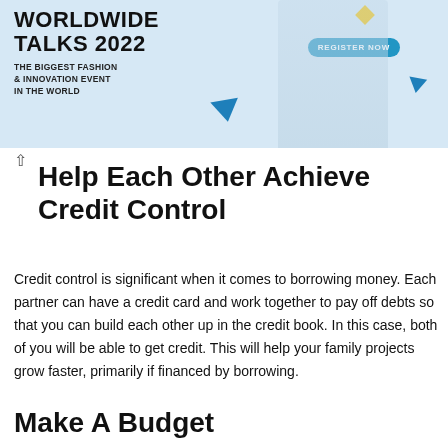[Figure (photo): Advertisement banner for Worldwide Talks 2022, described as the biggest fashion & innovation event in the world, with a Register Now button and decorative triangles and diamond shapes on a light blue background.]
Help Each Other Achieve Credit Control
Credit control is significant when it comes to borrowing money. Each partner can have a credit card and work together to pay off debts so that you can build each other up in the credit book. In this case, both of you will be able to get credit. This will help your family projects grow faster, primarily if financed by borrowing.
Make A Budget